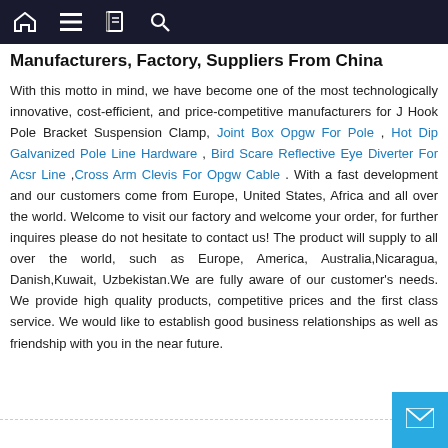Navigation bar with home, menu, book, and search icons
Manufacturers, Factory, Suppliers From China
With this motto in mind, we have become one of the most technologically innovative, cost-efficient, and price-competitive manufacturers for J Hook Pole Bracket Suspension Clamp, Joint Box Opgw For Pole , Hot Dip Galvanized Pole Line Hardware , Bird Scare Reflective Eye Diverter For Acsr Line ,Cross Arm Clevis For Opgw Cable . With a fast development and our customers come from Europe, United States, Africa and all over the world. Welcome to visit our factory and welcome your order, for further inquires please do not hesitate to contact us! The product will supply to all over the world, such as Europe, America, Australia,Nicaragua, Danish,Kuwait, Uzbekistan.We are fully aware of our customer's needs. We provide high quality products, competitive prices and the first class service. We would like to establish good business relationships as well as friendship with you in the near future.